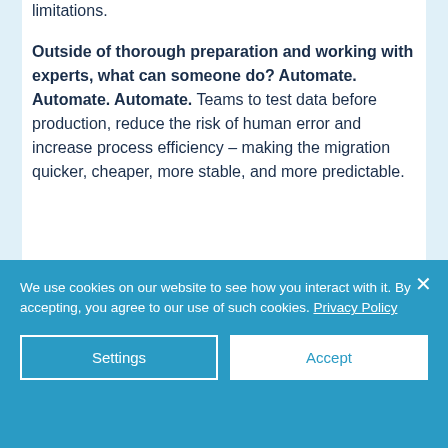limitations.
Outside of thorough preparation and working with experts, what can someone do? Automate. Automate. Automate. Teams to test data before production, reduce the risk of human error and increase process efficiency – making the migration quicker, cheaper, more stable, and more predictable.
We use cookies on our website to see how you interact with it. By accepting, you agree to our use of such cookies. Privacy Policy